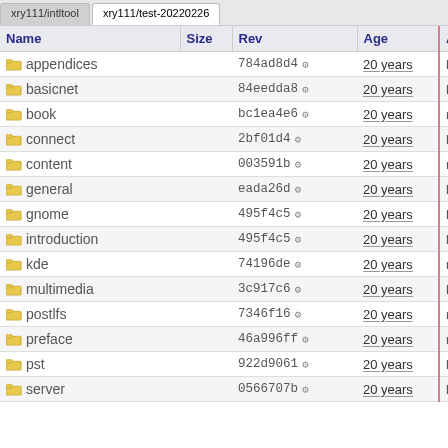xry111/intltool   xry111/test-20220226
| Name | Size | Rev | Age | Author |
| --- | --- | --- | --- | --- |
| appendices |  | 784ad8d4 | 20 years | larry |
| basicnet |  | 84eedda8 | 20 years | larry |
| book |  | bc1ea4e6 | 20 years | markh |
| connect |  | 2bf01d4 | 20 years | larry |
| content |  | 003591b | 20 years | markh |
| general |  | eada26d | 20 years | larry |
| gnome |  | 495f4c5 | 20 years | larry |
| introduction |  | 495f4c5 | 20 years | larry |
| kde |  | 74196de | 20 years | markh |
| multimedia |  | 3c917c6 | 20 years | larry |
| postlfs |  | 7346f16 | 20 years | markh |
| preface |  | 46a996ff | 20 years | markh |
| pst |  | 922d9061 | 20 years | larry |
| server |  | 0566707b | 20 years | larry |